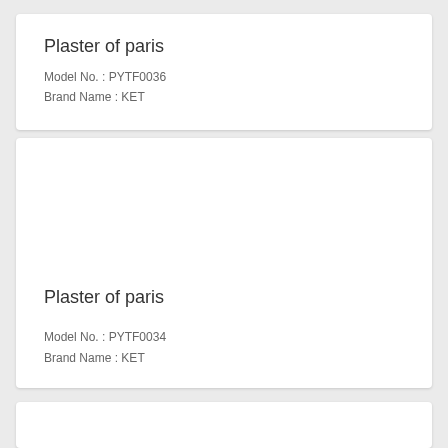Plaster of paris
Model No. : PYTF0036
Brand Name : KET
Plaster of paris
Model No. : PYTF0034
Brand Name : KET